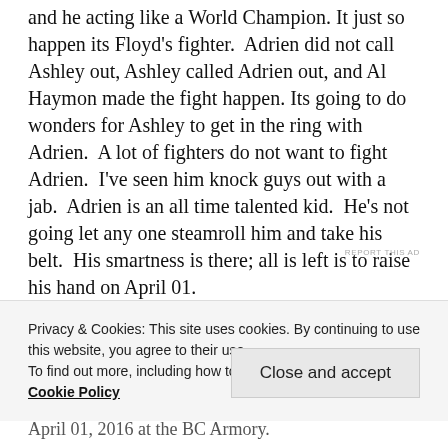and he acting like a World Champion. It just so happen its Floyd's fighter. Adrien did not call Ashley out, Ashley called Adrien out, and Al Haymon made the fight happen. Its going to do wonders for Ashley to get in the ring with Adrien. A lot of fighters do not want to fight Adrien. I've seen him knock guys out with a jab. Adrien is an all time talented kid. He's not going let any one steamroll him and take his belt. His smartness is there; all is left is to raise his hand on April 01.
REPORT THIS AD
Privacy & Cookies: This site uses cookies. By continuing to use this website, you agree to their use.
To find out more, including how to control cookies, see here: Cookie Policy
Close and accept
April 01, 2016 at the BC Armory.